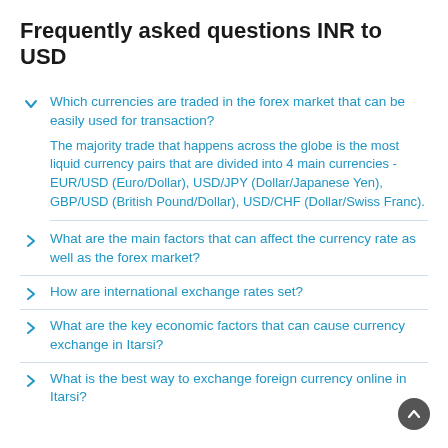Frequently asked questions INR to USD
Which currencies are traded in the forex market that can be easily used for transaction?
The majority trade that happens across the globe is the most liquid currency pairs that are divided into 4 main currencies - EUR/USD (Euro/Dollar), USD/JPY (Dollar/Japanese Yen), GBP/USD (British Pound/Dollar), USD/CHF (Dollar/Swiss Franc).
What are the main factors that can affect the currency rate as well as the forex market?
How are international exchange rates set?
What are the key economic factors that can cause currency exchange in Itarsi?
What is the best way to exchange foreign currency online in Itarsi?